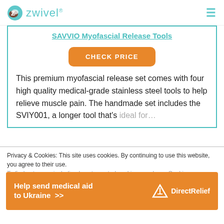zwivel
SAVVIO Myofascial Release Tools
CHECK PRICE
This premium myofascial release set comes with four high quality medical-grade stainless steel tools to help relieve muscle pain. The handmade set includes the SVIY001, a longer tool that's ideal for…
Privacy & Cookies: This site uses cookies. By continuing to use this website, you agree to their use.
To find out more, including how to control cookies, see here: Cookie
Help send medical aid to Ukraine >>